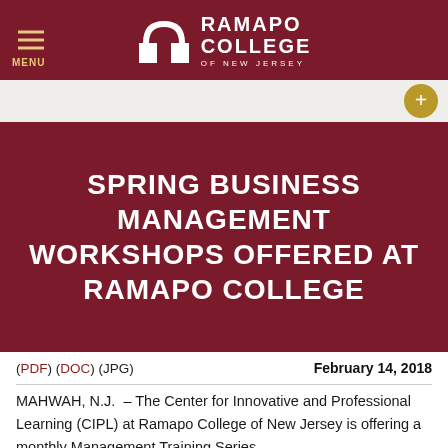MENU | RAMAPO COLLEGE OF NEW JERSEY
SPRING BUSINESS MANAGEMENT WORKSHOPS OFFERED AT RAMAPO COLLEGE
(PDF) (DOC) (JPG)   February 14, 2018
MAHWAH, N.J.  – The Center for Innovative and Professional Learning (CIPL) at Ramapo College of New Jersey is offering a monthly Management Training Series